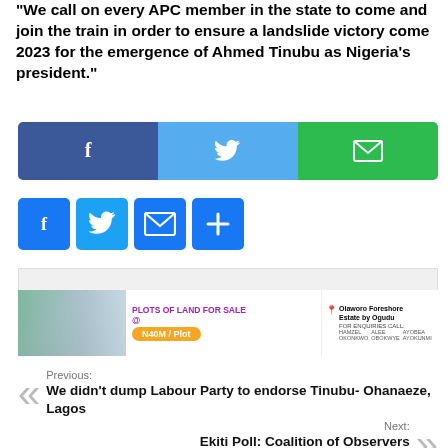"We call on every APC member in the state to come and join the train in order to ensure a landslide victory come 2023 for the emergence of Ahmed Tinubu as Nigeria's president."
[Figure (infographic): Social share bar with Facebook, Twitter, and Email buttons in a wide banner format]
[Figure (infographic): Small square social share icons: Facebook, Twitter, Email, and plus/more button]
[Figure (infographic): Advertisement placeholder grey box]
[Figure (infographic): Advertisement banner: Plots of Land for Sale at Olaworo Foreshore Estate by Ogudu, N40M/Plot]
Previous:
We didn't dump Labour Party to endorse Tinubu- Ohanaeze, Lagos
Next:
Ekiti Poll: Coalition of Observers urges Oni, others to accept defeat